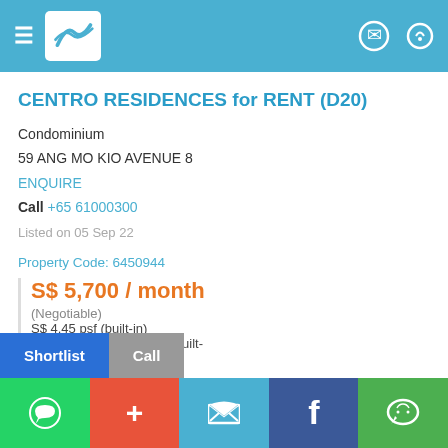CENTRO RESIDENCES for RENT (D20) - Navigation header with logo
CENTRO RESIDENCES for RENT (D20)
Condominium
59 ANG MO KIO AVENUE 8
ENQUIRE
Call +65 61000300
Listed on 05 Sep 22
Property Code: 6450944
S$ 5,700 / month
(Negotiable)
S$ 4.45 psf (built-in)
1,281 sqft / 119.01 sqm (built-in)
3 [bed icon]
WhatsApp | + | Twitter | Facebook | WeChat